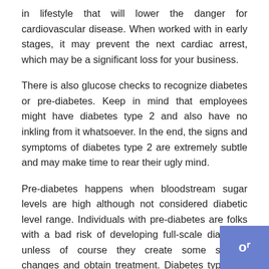in lifestyle that will lower the danger for cardiovascular disease. When worked with in early stages, it may prevent the next cardiac arrest, which may be a significant loss for your business.
There is also glucose checks to recognize diabetes or pre-diabetes. Keep in mind that employees might have diabetes type 2 and also have no inkling from it whatsoever. In the end, the signs and symptoms of diabetes type 2 are extremely subtle and may make time to rear their ugly mind.
Pre-diabetes happens when bloodstream sugar levels are high although not considered diabetic level range. Individuals with pre-diabetes are folks with a bad risk of developing full-scale diabetes, unless of course they create some serious changes and obtain treatment. Diabetes type 2 is really a significant risk factor for